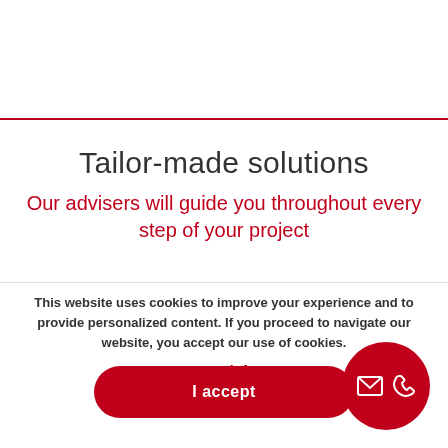Tailor-made solutions
Our advisers will guide you throughout every step of your project
This website uses cookies to improve your experience and to provide personalized content. If you proceed to navigate our website, you accept our use of cookies.
More info
I accept
[Figure (illustration): Red circle button with envelope and phone icons for contact]